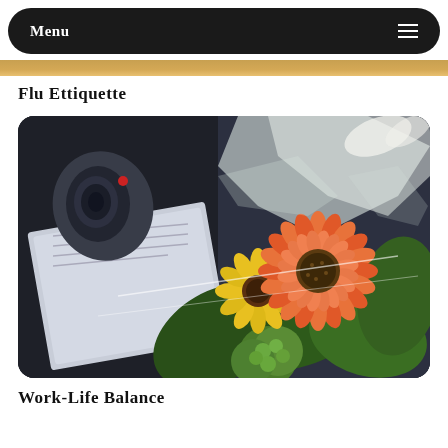Menu
[Figure (photo): Partial view of a photo strip at the top of the page, warm orange/brown tones]
Flu Ettiquette
[Figure (photo): Photo of a bouquet of flowers including an orange gerbera daisy, yellow sunflowers, and green hydrangeas wrapped in cellophane, resting on dark leather surface alongside some papers/books]
Work-Life Balance